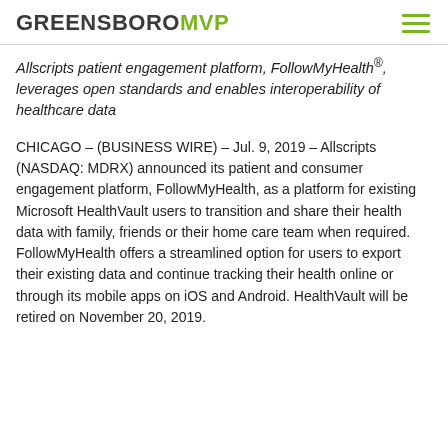GREENSBOROMVP
Allscripts patient engagement platform, FollowMyHealth®, leverages open standards and enables interoperability of healthcare data
CHICAGO – (BUSINESS WIRE) – Jul. 9, 2019 – Allscripts (NASDAQ: MDRX) announced its patient and consumer engagement platform, FollowMyHealth, as a platform for existing Microsoft HealthVault users to transition and share their health data with family, friends or their home care team when required. FollowMyHealth offers a streamlined option for users to export their existing data and continue tracking their health online or through its mobile apps on iOS and Android. HealthVault will be retired on November 20, 2019.